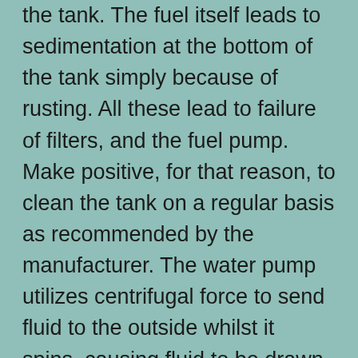the tank. The fuel itself leads to sedimentation at the bottom of the tank simply because of rusting. All these lead to failure of filters, and the fuel pump. Make positive, for that reason, to clean the tank on a regular basis as recommended by the manufacturer. The water pump utilizes centrifugal force to send fluid to the outside whilst it spins, causing fluid to be drawn from the center constantly. The inlet to the pump is situated near the center so that fluid returning from the radiator hits the pump vanes. The pump vanes fling the fluid to the outdoors of the pump, where it can enter the engine. Note that we used a 4″ threaded plug